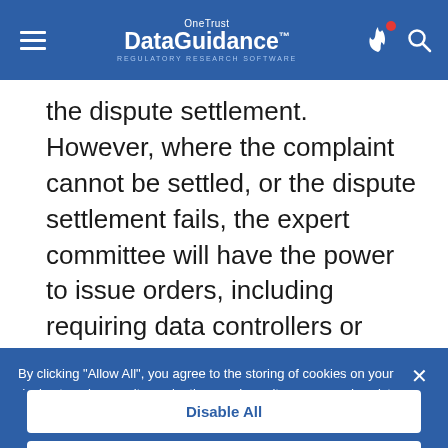OneTrust DataGuidance™ REGULATORY RESEARCH SOFTWARE
the dispute settlement. However, where the complaint cannot be settled, or the dispute settlement fails, the expert committee will have the power to issue orders, including requiring data controllers or data processors to perform
By clicking "Allow All", you agree to the storing of cookies on your device to enhance site navigation, analyze site usage, and assist in our marketing efforts. Cookie Notice
Customize Settings
Disable All
Allow All